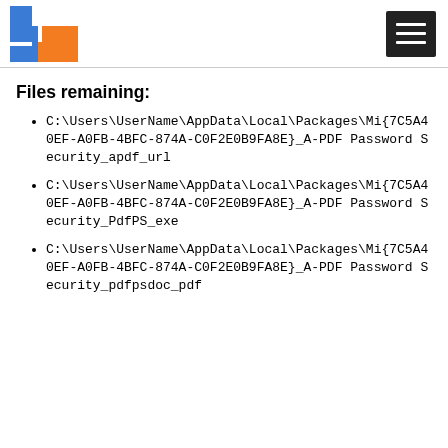[Figure (logo): Blue and orange app logo with letter C shape and square cutout]
[Figure (other): Hamburger menu icon (three horizontal white lines on dark background)]
Files remaining:
C:\Users\UserName\AppData\Local\Packages\Mi{7C5A40EF-A0FB-4BFC-874A-C0F2E0B9FA8E}_A-PDF Password Security_apdf_url
C:\Users\UserName\AppData\Local\Packages\Mi{7C5A40EF-A0FB-4BFC-874A-C0F2E0B9FA8E}_A-PDF Password Security_PdfPS_exe
C:\Users\UserName\AppData\Local\Packages\Mi{7C5A40EF-A0FB-4BFC-874A-C0F2E0B9FA8E}_A-PDF Password Security_pdfpsdoc_pdf